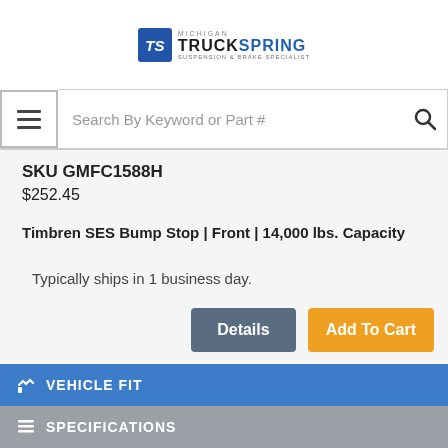Michigan TruckSpring - Suspension & Brake Specialists
Search By Keyword or Part #
SKU GMFC1588H
$252.45
Timbren SES Bump Stop | Front | 14,000 lbs. Capacity
Typically ships in 1 business day.
Details | Add To Cart
VEHICLE FIT
SPECIFICATIONS
Contact Us
TrustedSite CERTIFIED SECURE